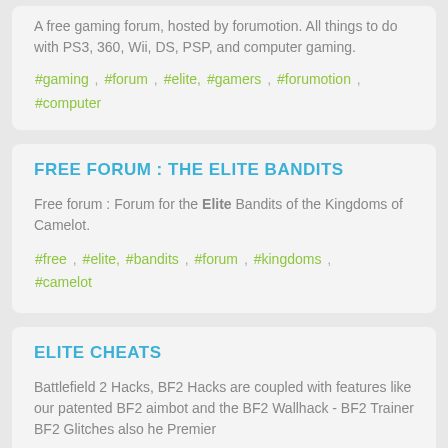A free gaming forum, hosted by forumotion. All things to do with PS3, 360, Wii, DS, PSP, and computer gaming.
#gaming , #forum , #elite, #gamers , #forumotion , #computer
FREE FORUM : THE ELITE BANDITS
Free forum : Forum for the Elite Bandits of the Kingdoms of Camelot.
#free , #elite, #bandits , #forum , #kingdoms , #camelot
ELITE CHEATS
Battlefield 2 Hacks, BF2 Hacks are coupled with features like our patented BF2 aimbot and the BF2 Wallhack - BF2 Trainer BF2 Glitches also he Premier